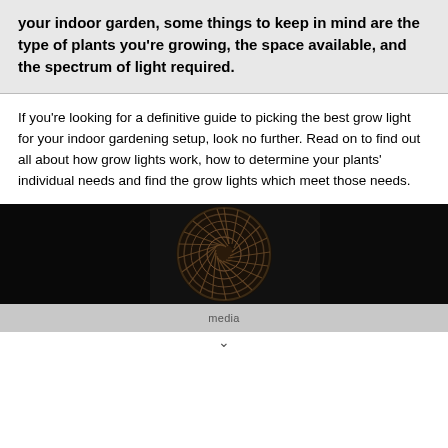your indoor garden, some things to keep in mind are the type of plants you're growing, the space available, and the spectrum of light required.
If you're looking for a definitive guide to picking the best grow light for your indoor gardening setup, look no further. Read on to find out all about how grow lights work, how to determine your plants' individual needs and find the grow lights which meet those needs.
[Figure (photo): Dark close-up photo of a circular grow light showing spiral/fan pattern in dark brown/copper tones against black background]
media